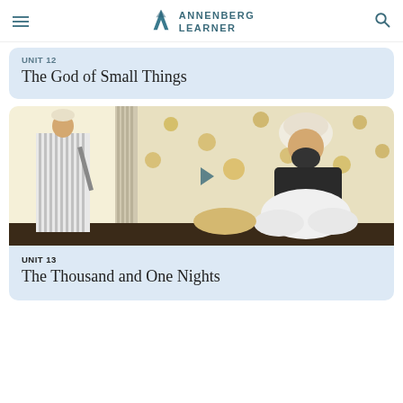Annenberg Learner
UNIT 12
The God of Small Things
[Figure (illustration): Vintage illustration of two Middle Eastern figures: one standing wearing striped robe holding a sword, another seated cross-legged wearing white turban and dark vest, set against decorative patterned curtain background with yellow floral motifs.]
UNIT 13
The Thousand and One Nights